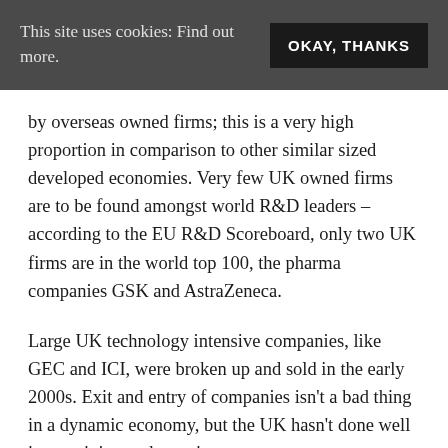This site uses cookies: Find out more.   OKAY, THANKS
by overseas owned firms; this is a very high proportion in comparison to other similar sized developed economies. Very few UK owned firms are to be found amongst world R&D leaders – according to the EU R&D Scoreboard, only two UK firms are in the world top 100, the pharma companies GSK and AstraZeneca.
Large UK technology intensive companies, like GEC and ICI, were broken up and sold in the early 2000s. Exit and entry of companies isn't a bad thing in a dynamic economy, but the UK hasn't done well in sustaining and growing